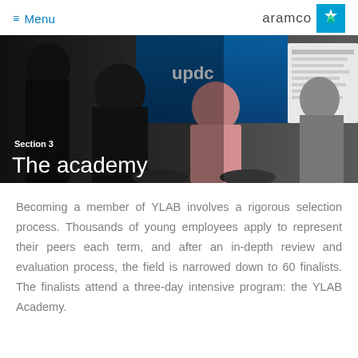Menu  aramco
[Figure (photo): People seated at a conference or training session with a presentation screen visible in the background showing 'updc' signage. Section 3 / The academy overlaid text on top.]
Section 3
The academy
Becoming a member of YLAB involves a rigorous selection process. Thousands of young employees apply to represent their peers each term, and after an in-depth review and evaluation process, the field is narrowed down to 60 finalists. The finalists attend a three-day intensive program: the YLAB Academy.